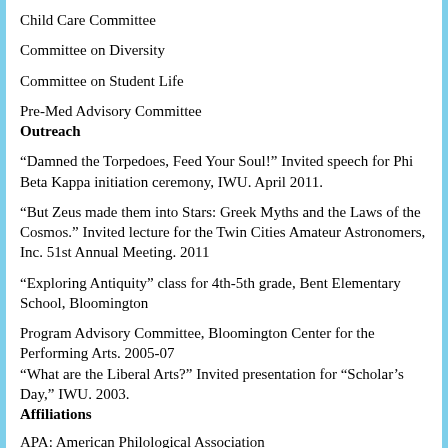Child Care Committee
Committee on Diversity
Committee on Student Life
Pre-Med Advisory Committee
Outreach
“Damned the Torpedoes, Feed Your Soul!” Invited speech for Phi Beta Kappa initiation ceremony, IWU. April 2011.
“But Zeus made them into Stars: Greek Myths and the Laws of the Cosmos.” Invited lecture for the Twin Cities Amateur Astronomers, Inc. 51st Annual Meeting. 2011
“Exploring Antiquity” class for 4th-5th grade, Bent Elementary School, Bloomington
Program Advisory Committee, Bloomington Center for the Performing Arts. 2005-07
“What are the Liberal Arts?” Invited presentation for “Scholar’s Day,” IWU. 2003.
Affiliations
APA: American Philological Association